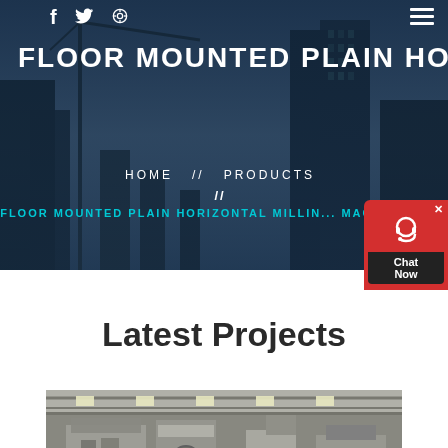[Figure (photo): Hero background: construction site with cranes and skyscrapers under a blue sky, dark overlay]
FLOOR MOUNTED PLAIN HORIZ...
HOME // PRODUCTS // FLOOR MOUNTED PLAIN HORIZONTAL MILLING MACHINE PDF
[Figure (infographic): Chat Now widget with red background and headset icon]
Latest Projects
[Figure (photo): Industrial machinery/equipment photo in a factory setting]